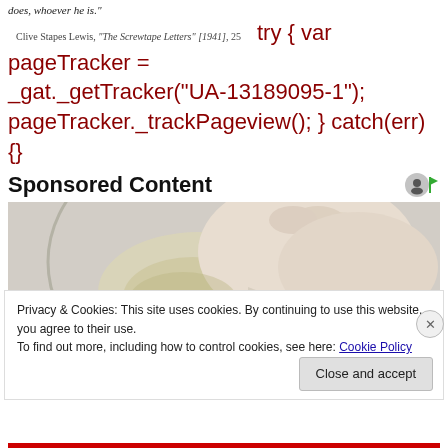does, whoever he is."
Clive Stapes Lewis, "The Screwtape Letters" [1941], 25try { var pageTracker = _gat._getTracker("UA-13189095-1"); pageTracker._trackPageview(); } catch(err) {}
Sponsored Content
[Figure (photo): A gloved hand holding a petri dish with a yellowish culture, laboratory setting]
Privacy & Cookies: This site uses cookies. By continuing to use this website, you agree to their use.
To find out more, including how to control cookies, see here: Cookie Policy